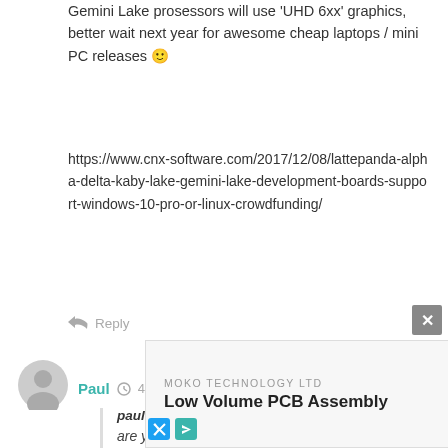Gemini Lake prosessors will use 'UHD 6xx' graphics, better wait next year for awesome cheap laptops / mini PC releases 🙂
https://www.cnx-software.com/2017/12/08/lattepanda-alpha-delta-kaby-lake-gemini-lake-development-boards-support-windows-10-pro-or-linux-crowdfunding/
↩ Reply
[Figure (illustration): Generic user avatar icon - circular grey user silhouette]
Paul  🕐 4 years ago  🔗
paul M : are you able to give power consumption figures for idle, 100% CPU but idle GPU, and when fully loaded CPU and GPU? thanks!
I sec... C35 Apo l... spec by in...
[Figure (screenshot): Advertisement banner: MOKO TECHNOLOGY LTD - Low Volume PCB Assembly - GET QUOTE button]